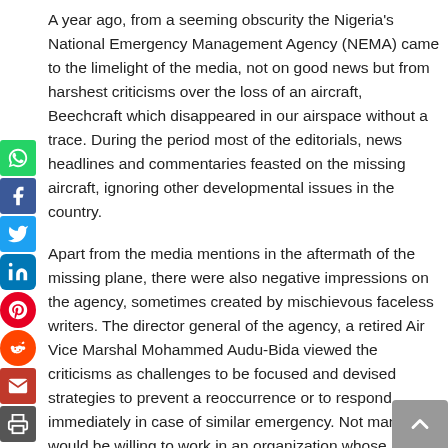A year ago, from a seeming obscurity the Nigeria's National Emergency Management Agency (NEMA) came to the limelight of the media, not on good news but from harshest criticisms over the loss of an aircraft, Beechcraft which disappeared in our airspace without a trace. During the period most of the editorials, news headlines and commentaries feasted on the missing aircraft, ignoring other developmental issues in the country.
Apart from the media mentions in the aftermath of the missing plane, there were also negative impressions on the agency, sometimes created by mischievous faceless writers. The director general of the agency, a retired Air Vice Marshal Mohammed Audu-Bida viewed the criticisms as challenges to be focused and devised strategies to prevent a reoccurrence or to respond immediately in case of similar emergency. Not many would be willing to work in an organization whose major responsibility is to manage disaster because of the fear of being caught in the flame of the tragedy, but Audu-Bida and staff of the agency have developed passion for the job in